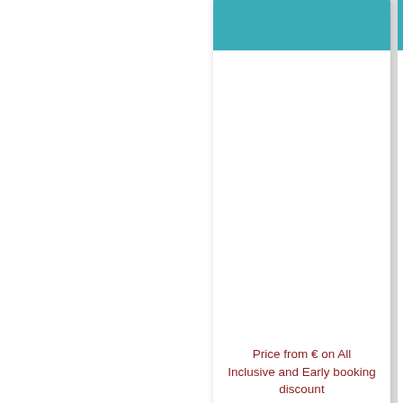[Figure (screenshot): Hotel booking interface showing cards with teal/turquoise headers. Top card (partially visible) shows white body area with red text 'Price from € on All Inclusive and Early booking discount'. A teal section header bar reads 'hotels ***'. Below is a card with header 'Astoria Hotel' and white body area. Another partial card is visible on the right edge.]
Price from € on All Inclusive and Early booking discount
hotels ***
Astoria Hotel